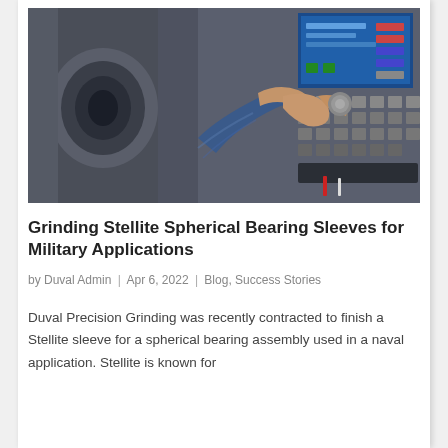[Figure (photo): A person's hand operating a CNC machine control panel, adjusting a knob or dial. The operator is wearing a blue plaid shirt. The control panel has a digital screen with colored buttons on the upper right and numerous black buttons/switches. A metal workpiece is visible on the left side of the machine.]
Grinding Stellite Spherical Bearing Sleeves for Military Applications
by Duval Admin | Apr 6, 2022 | Blog, Success Stories
Duval Precision Grinding was recently contracted to finish a Stellite sleeve for a spherical bearing assembly used in a naval application. Stellite is known for